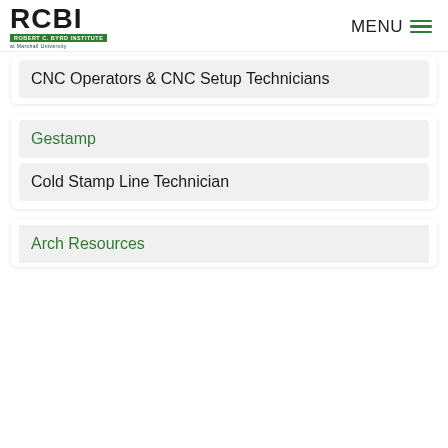RCBI — Robert C. Byrd Institute at Marshall University | MENU
CNC Operators & CNC Setup Technicians
Gestamp
Cold Stamp Line Technician
Arch Resources